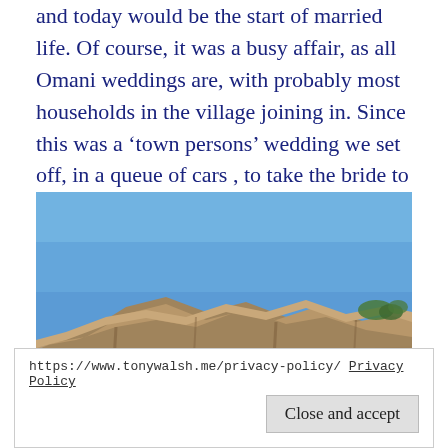and today would be the start of married life. Of course, it was a busy affair, as all Omani weddings are, with probably most households in the village joining in. Since this was a 'town persons' wedding we set off, in a queue of cars , to take the bride to the grooms home .
[Figure (photo): Photograph of rocky cliff face with layered sandstone/limestone rocks against a clear blue sky, with some sparse vegetation visible at the top right.]
https://www.tonywalsh.me/privacy-policy/ Privacy Policy
Close and accept